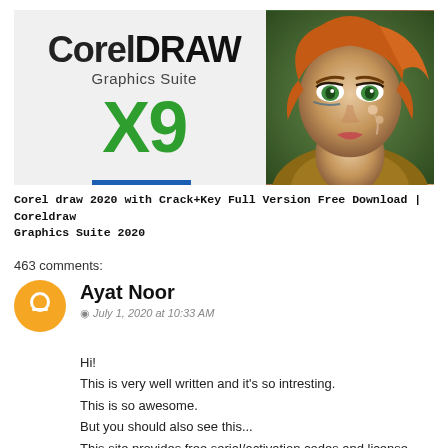[Figure (illustration): CorelDRAW Graphics Suite X9 banner image with logo text on gray background on left and illustrated female character face on right]
Corel draw 2020 with Crack+Key Full Version Free Download | Coreldraw Graphics Suite 2020
463 comments:
Ayat Noor
July 1, 2020 at 10:33 AM
Hi!
This is very well written and it's so intresting.
This is so awesome.
But you should also see this...
This site provides free serial/activation codes and license keys.